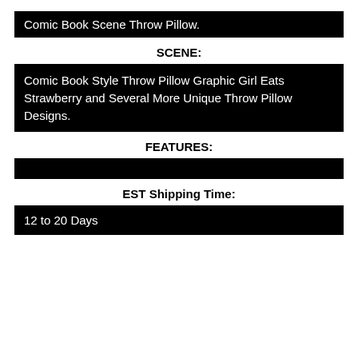Comic Book Scene Throw Pillow.
SCENE:
Comic Book Style Throw Pillow Graphic Girl Eats Strawberry and Several More Unique Throw Pillow Designs.
FEATURES:
EST Shipping Time:
12 to 20 Days